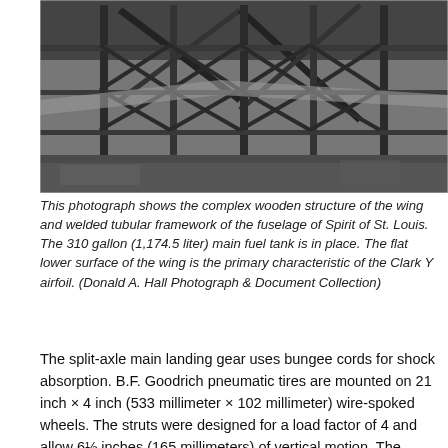[Figure (photo): Black and white photograph showing the complex wooden structure of the wing and welded tubular framework of the fuselage of Spirit of St. Louis under construction, with steel scaffolding and structural beams visible.]
This photograph shows the complex wooden structure of the wing and welded tubular framework of the fuselage of Spirit of St. Louis. The 310 gallon (1,174.5 liter) main fuel tank is in place. The flat lower surface of the wing is the primary characteristic of the Clark Y airfoil. (Donald A. Hall Photograph & Document Collection)
The split-axle main landing gear uses bungee cords for shock absorption. B.F. Goodrich pneumatic tires are mounted on 21 inch × 4 inch (533 millimeter × 102 millimeter) wire-spoked wheels. The struts were designed for a load factor of 4 and allow 6½ inches (165 millimeters) of vertical motion. The wheels can spread to absorb